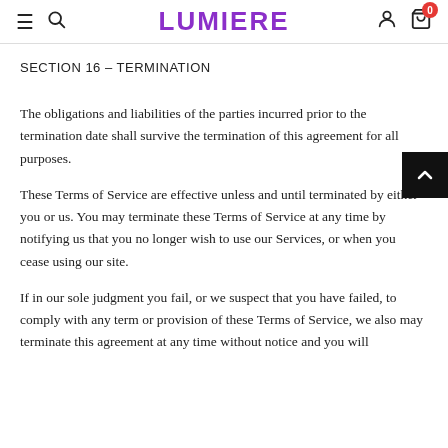LUMIERE
SECTION 16 – TERMINATION
The obligations and liabilities of the parties incurred prior to the termination date shall survive the termination of this agreement for all purposes.
These Terms of Service are effective unless and until terminated by either you or us. You may terminate these Terms of Service at any time by notifying us that you no longer wish to use our Services, or when you cease using our site.
If in our sole judgment you fail, or we suspect that you have failed, to comply with any term or provision of these Terms of Service, we also may terminate this agreement at any time without notice and you will